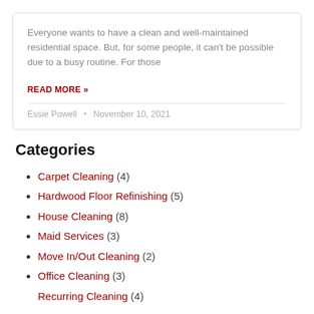Everyone wants to have a clean and well-maintained residential space. But, for some people, it can't be possible due to a busy routine. For those
READ MORE »
Essie Powell • November 10, 2021
Categories
Carpet Cleaning (4)
Hardwood Floor Refinishing (5)
House Cleaning (8)
Maid Services (3)
Move In/Out Cleaning (2)
Office Cleaning (3)
Recurring Cleaning (4)